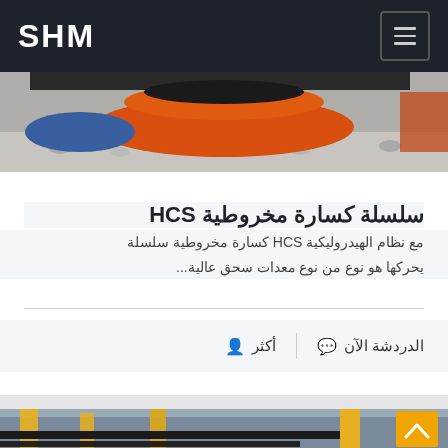SHM
[Figure (photo): Industrial cone crusher equipment showing red and blue/orange circular components with gravel/stones]
سلسلة كسارة مخروطية HCS
مع نظام الهيدروليكية HCS كسارة مخروطية سلسلة يحركها هو نوع من نوع معدات سحق عالية...
الدردشة الآن   أكثر
[Figure (photo): Industrial machinery in a factory setting showing yellow steel frames and conveyor belt equipment]